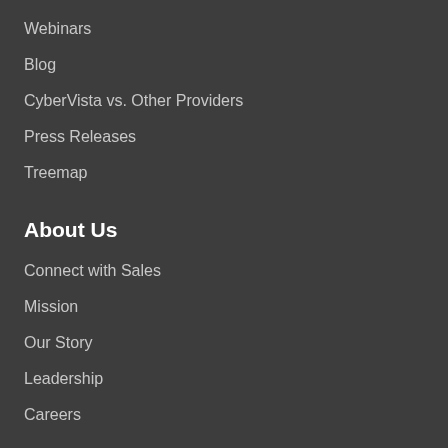Webinars
Blog
CyberVista vs. Other Providers
Press Releases
Treemap
About Us
Connect with Sales
Mission
Our Story
Leadership
Careers